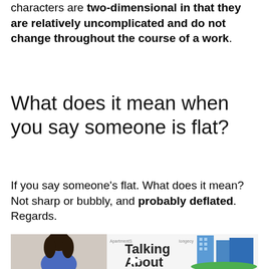characters are two-dimensional in that they are relatively uncomplicated and do not change throughout the course of a work.
What does it mean when you say someone is flat?
If you say someone's flat. What does it mean? Not sharp or bubbly, and probably deflated. Regards.
[Figure (screenshot): YouTube video thumbnail for 'Talking About Apartments' showing a woman and building graphic with YouTube play button overlay]